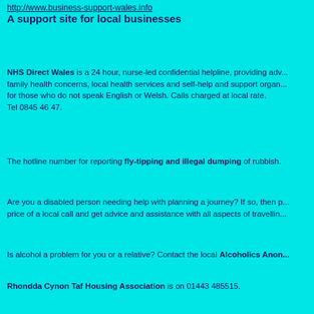http://www.business-support-wales.info A support site for local businesses
NHS Direct Wales is a 24 hour, nurse-led confidential helpline, providing advice about family health concerns, local health services and self-help and support organisations. Available for those who do not speak English or Welsh. Calls charged at local rate. Tel 0845 46 47.
The hotline number for reporting fly-tipping and illegal dumping of rubbish.
Are you a disabled person needing help with planning a journey? If so, then p... price of a local call and get advice and assistance with all aspects of travelling.
Is alcohol a problem for you or a relative? Contact the local Alcoholics Anon...
Rhondda Cynon Taf Housing Association is on 01443 485515.